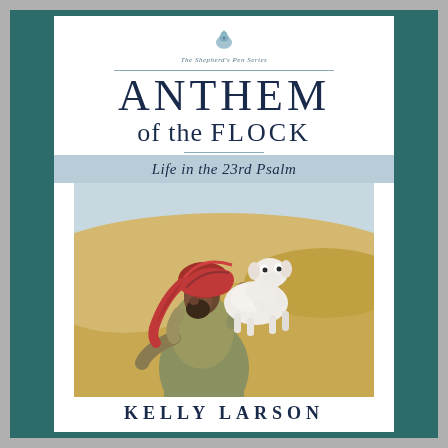[Figure (illustration): Book cover for 'Anthem of the Flock: Life in the 23rd Psalm' by Kelly Larson. Part of The Shepherd's Pen Series. Features an illustration of a shepherd wearing a red turban carrying a white lamb on his shoulders, set against a desert/sandy background with soft blue sky. The shepherd is looking downward while the lamb faces outward with a gentle expression.]
ANTHEM of the FLOCK
Life in the 23rd Psalm
KELLY LARSON